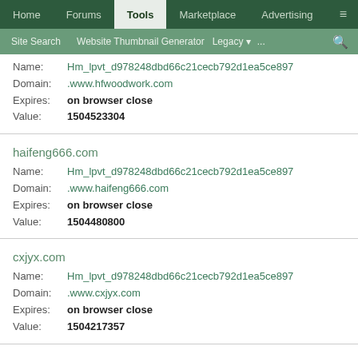Home | Forums | Tools | Marketplace | Advertising | ≡
Site Search | Website Thumbnail Generator | Legacy | ... | 🔍
Name: Hm_lpvt_d978248dbd66c21cecb792d1ea5ce897
Domain: .www.hfwoodwork.com
Expires: on browser close
Value: 1504523304
haifeng666.com
Name: Hm_lpvt_d978248dbd66c21cecb792d1ea5ce897
Domain: .www.haifeng666.com
Expires: on browser close
Value: 1504480800
cxjyx.com
Name: Hm_lpvt_d978248dbd66c21cecb792d1ea5ce897
Domain: .www.cxjyx.com
Expires: on browser close
Value: 1504217357
huanggesheng.com
Name: Hm_lpvt_d978248dbd66c21cecb792d1ea5ce897
Domain: .www.huanggesheng.com
Expires: on browser close
Value: 1504063581